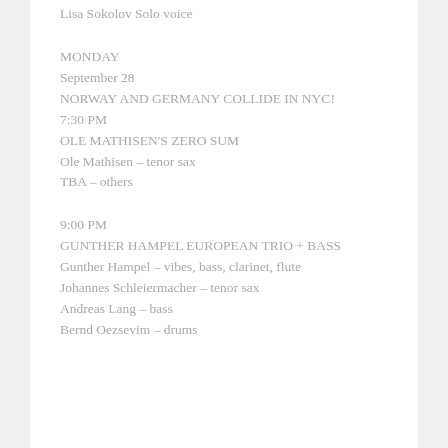Lisa Sokolov Solo voice
MONDAY
September 28
NORWAY AND GERMANY COLLIDE IN NYC!
7:30 PM
OLE MATHISEN'S ZERO SUM
Ole Mathisen – tenor sax
TBA – others
9:00 PM
GUNTHER HAMPEL EUROPEAN TRIO + BASS
Gunther Hampel – vibes, bass, clarinet, flute
Johannes Schleiermacher – tenor sax
Andreas Lang – bass
Bernd Oezsevim – drums